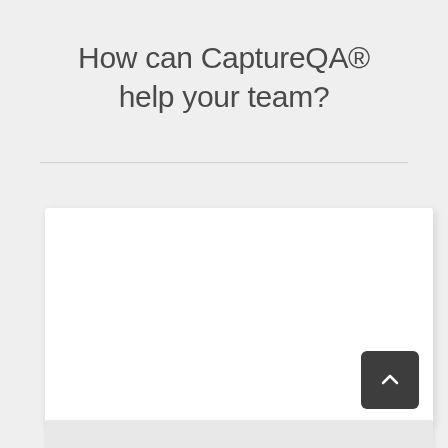How can CaptureQA® help your team?
[Figure (screenshot): A white card/panel with a dark scroll-to-top button in the bottom right corner, displayed on a light gray background. Below the card is a partially visible second card.]